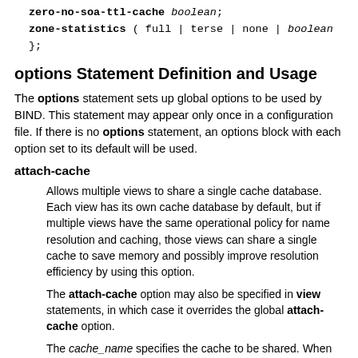zero-no-soa-ttl-cache boolean;
zone-statistics ( full | terse | none | boolean
};
options Statement Definition and Usage
The options statement sets up global options to be used by BIND. This statement may appear only once in a configuration file. If there is no options statement, an options block with each option set to its default will be used.
attach-cache
Allows multiple views to share a single cache database. Each view has its own cache database by default, but if multiple views have the same operational policy for name resolution and caching, those views can share a single cache to save memory and possibly improve resolution efficiency by using this option.
The attach-cache option may also be specified in view statements, in which case it overrides the global attach-cache option.
The cache_name specifies the cache to be shared. When the